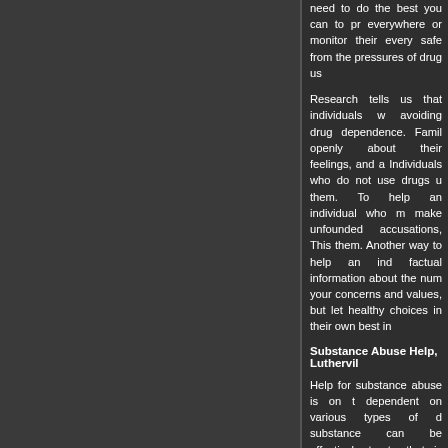need to do the best you can to pr... everywhere or monitor their every... safe from the pressures of drug us...
Research tells us that individuals w... avoiding drug dependence. Famil... openly about their feelings, and a... Individuals who do not use drugs u... them. To help an individual who m... make unfounded accusations, This... them. Another way to help an ind... factual information about the num... your concerns and values, but let... healthy choices in their own best in...
Substance Abuse Help, Luthervil...
Help for substance abuse is on t... dependent on various types of d... substance can be effectively treate... that is appropriate for everyone. W... account the type of drug used and...
What do you do if you or someone... decision is made to quit? You or ... getting help but are too embarrass... about getting in trouble. The good... friend. The best place to start is by... is one of the first steps in getting... getting started, people who care wi...
Help For Drug Abuse, Lutherville...
Getting help for drug abuse may b... or for someone you care about. T... life. Their drug abuse often involve... dysfunctional behaviors that can in... and the broader community. With...